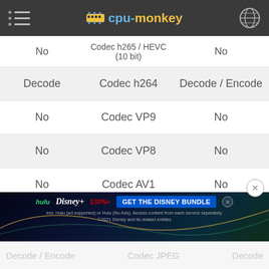cpu-monkey
| Left CPU | Codec | Right CPU |
| --- | --- | --- |
| No | Codec h265 / HEVC (10 bit) | No |
| Decode | Codec h264 | Decode / Encode |
| No | Codec VP9 | No |
| No | Codec VP8 | No |
| No | Codec AV1 | No |
| Decode | Codec AVC | Decode / Encode |
[Figure (screenshot): Advertisement banner for Disney Bundle featuring Hulu, Disney+, ESPN+ logos and GET THE DISNEY BUNDLE call to action]
Decode / Encode    Codec JPEG    Decode